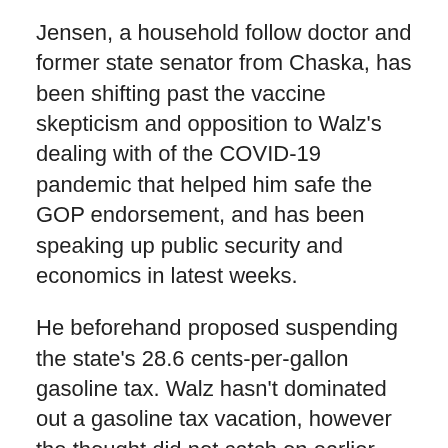Jensen, a household follow doctor and former state senator from Chaska, has been shifting past the vaccine skepticism and opposition to Walz's dealing with of the COVID-19 pandemic that helped him safe the GOP endorsement, and has been speaking up public security and economics in latest weeks.
He beforehand proposed suspending the state's 28.6 cents-per-gallon gasoline tax. Walz hasn't dominated out a gasoline tax vacation, however the thought did not catch on earlier than the Legislature adjourned its common session final month, and the governor has referred to as his rebate proposal a simpler various.
Governors cannot do a lot to scale back inflation, which is a drawback of the nationwide economic system, however Jensen mentioned the state can assist minimize folks's prices. He did not have many specifics for the right way to